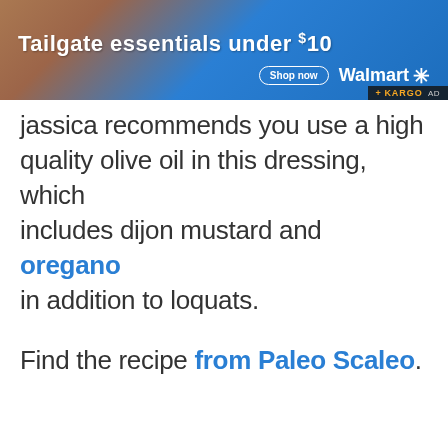[Figure (infographic): Walmart advertisement banner: 'Tailgate essentials under $10' with Shop now button and Walmart logo over a blue and orange background. KARGO AD label at bottom right.]
jassica recommends you use a high quality olive oil in this dressing, which includes dijon mustard and oregano in addition to loquats.
Find the recipe from Paleo Scaleo.